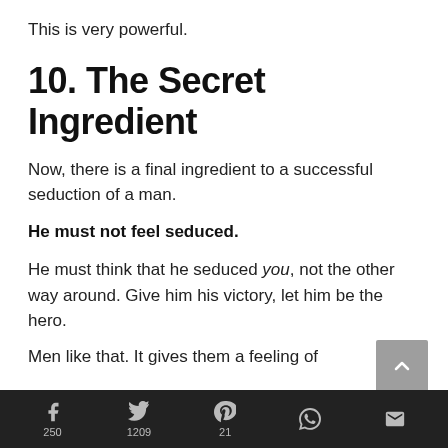This is very powerful.
10. The Secret Ingredient
Now, there is a final ingredient to a successful seduction of a man.
He must not feel seduced.
He must think that he seduced you, not the other way around. Give him his victory, let him be the hero.
Men like that. It gives them a feeling of
f 250  1209  21  (WhatsApp)  (Email)